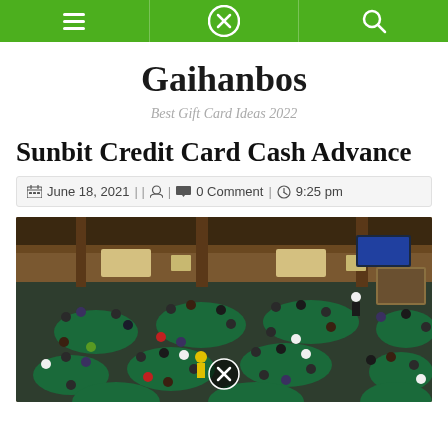Navigation bar with menu, close, and search icons
Gaihanbos
Best Gift Card Ideas 2022
Sunbit Credit Card Cash Advance
June 18, 2021 || [author icon] | [comment icon] 0 Comment | [clock icon] 9:25 pm
[Figure (photo): Aerial wide-angle view of a large casino poker room filled with players at green felt tables, wooden interior with warm lighting]